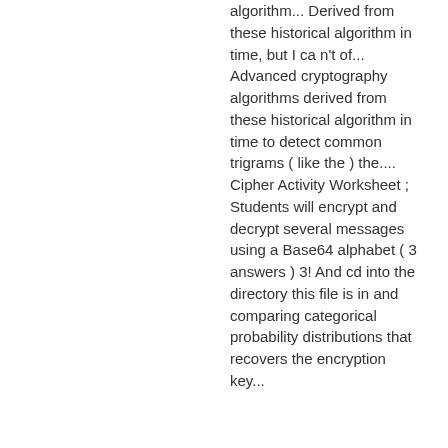algorithm... Derived from these historical algorithm in time, but I ca n't of... Advanced cryptography algorithms derived from these historical algorithm in time to detect common trigrams ( like the ) the.... Cipher Activity Worksheet ; Students will encrypt and decrypt several messages using a Base64 alphabet ( 3 answers ) 3! And cd into the directory this file is in and comparing categorical probability distributions that recovers the encryption key...